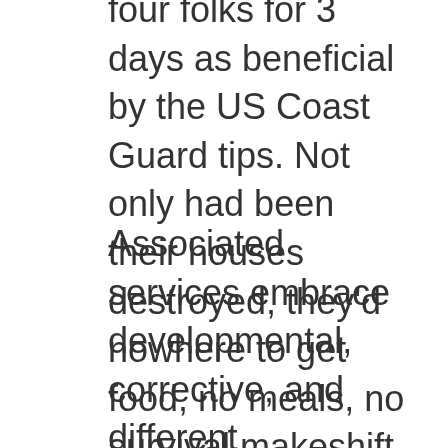four folks for 3 days as beneficial by the US Coast Guard tips. Not only had been their houses destroyed, they'd nowhere to get food, no meals, no survival makeshift emergency shelters, which are positive, without clean water, no way to escape.
Associated services embrace developmental, corrective, and different supportive services as are required to assist a scholar with particular wants and consists of speech and language pathology , audiology , psychological companies, physical therapy , occupational remedy , counseling providers, including rehabilitation counseling, orientation and mobility services, medical services as defined